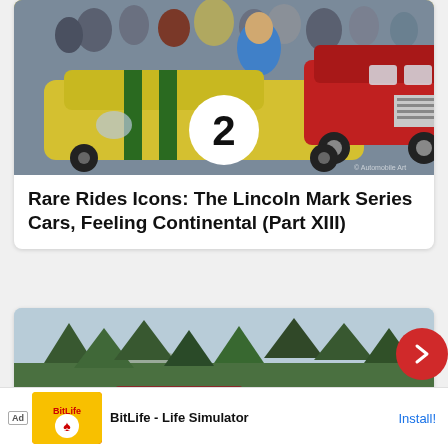[Figure (illustration): Illustrated scene showing a yellow racing car with number 2 and green stripes alongside a red Lincoln Continental Mark series car, surrounded by a crowd of spectators]
Rare Rides Icons: The Lincoln Mark Series Cars, Feeling Continental (Part XIII)
[Figure (photo): Photograph of a red/maroon car driving on a road surrounded by trees and hills under a light sky]
Ad | BitLife - Life Simulator | Install!